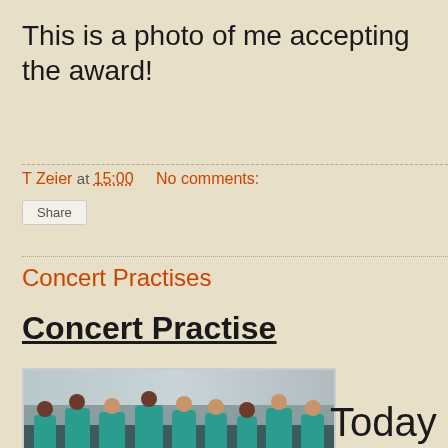This is a photo of me accepting the award!
T Zeier at 15:00    No comments:
Share
Concert Practises
Concert Practise
[Figure (photo): Group of school children in teal/turquoise shirts performing or singing at a concert practise, outdoors near a building]
Today the